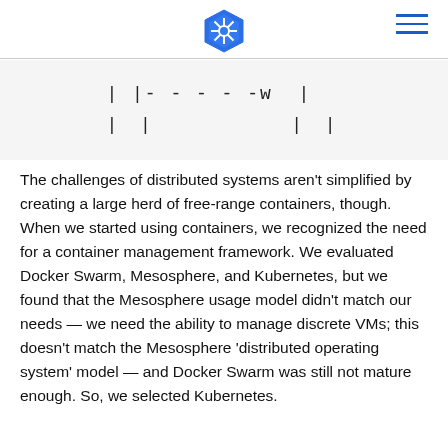Kubernetes logo and navigation
[Figure (illustration): ASCII-art style diagram showing two vertical pipes with a dashed horizontal connector, resembling a bridge or container diagram]
The challenges of distributed systems aren't simplified by creating a large herd of free-range containers, though. When we started using containers, we recognized the need for a container management framework. We evaluated Docker Swarm, Mesosphere, and Kubernetes, but we found that the Mesosphere usage model didn't match our needs — we need the ability to manage discrete VMs; this doesn't match the Mesosphere 'distributed operating system' model — and Docker Swarm was still not mature enough. So, we selected Kubernetes.